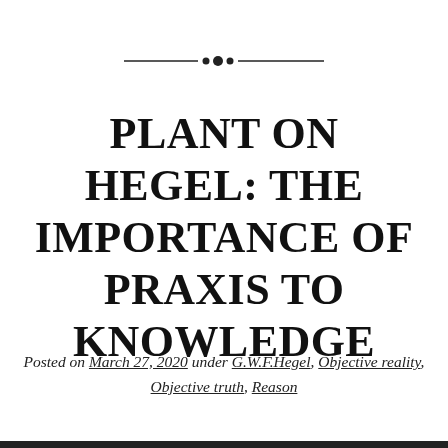[Figure (illustration): Decorative horizontal divider with a central diamond/dot ornament flanked by horizontal lines]
PLANT ON HEGEL: THE IMPORTANCE OF PRAXIS TO KNOWLEDGE
Posted on March 27, 2020 under G.W.F.Hegel, Objective reality, Objective truth, Reason